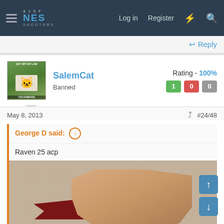NES SHOOTERS — Log in  Register
↩ Reply
[Figure (photo): User avatar for SalemCat showing a cat meme with text GET OFF MY LAW and YOU DAMN KID]
SalemCat
Banned
Rating - 100%
1  0  0
May 8, 2013  #24/48
George D said: ↑
Raven 25 acp
[Figure (photo): Close-up photo of a hand holding or touching a dark red triangular object on a light textured fabric/carpet surface]
Click to expand...